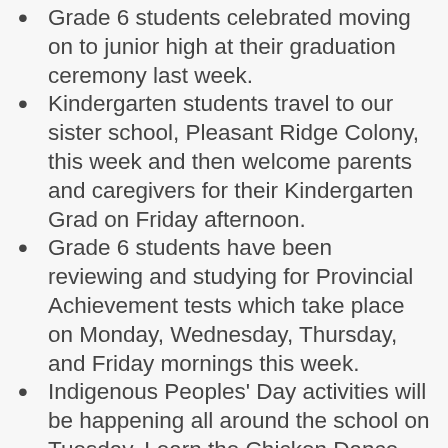Grade 6 students celebrated moving on to junior high at their graduation ceremony last week.
Kindergarten students travel to our sister school, Pleasant Ridge Colony, this week and then welcome parents and caregivers for their Kindergarten Grad on Friday afternoon.
Grade 6 students have been reviewing and studying for Provincial Achievement tests which take place on Monday, Wednesday, Thursday, and Friday mornings this week.
Indigenous Peoples' Day activities will be happening all around the school on Tuesday. Learn the Chicken Dance online with elders, get creative with indigenous